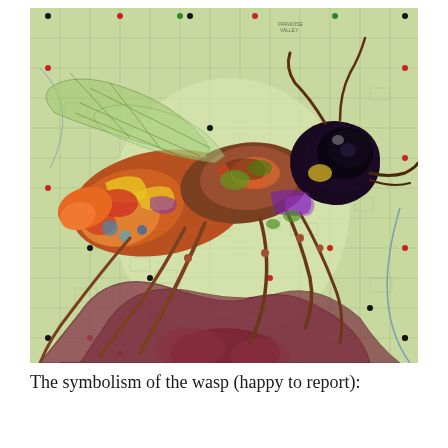[Figure (illustration): A detailed mixed-media artwork of a colorful wasp with vivid red, orange, yellow, green, purple, and blue patterning, painted over a vintage city map background (showing grid streets, blocks, and labels including 'Paradise Valley'). The map has colored dots (red, black, white, blue, green) scattered across it. The wasp is depicted in a side profile with large compound eye, wings, and long legs. Below the wasp body are large reddish-brown leaf or pod shapes. The background map is in muted greens, yellows, and light blue tones.]
The symbolism of the wasp (happy to report):